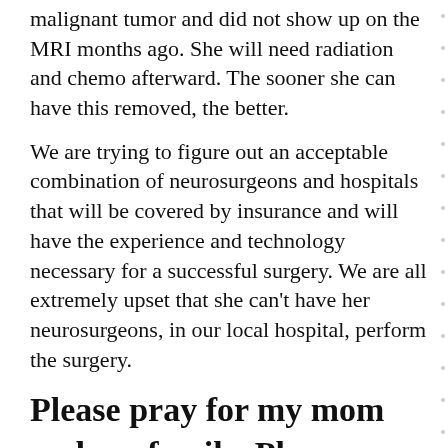malignant tumor and did not show up on the MRI months ago. She will need radiation and chemo afterward. The sooner she can have this removed, the better.
We are trying to figure out an acceptable combination of neurosurgeons and hospitals that will be covered by insurance and will have the experience and technology necessary for a successful surgery. We are all extremely upset that she can't have her neurosurgeons, in our local hospital, perform the surgery.
Please pray for my mom and my family. Please pray that the insurance gets worked out. Please pray that everything will be okay.
Unknown at 10:54 PM    10 comments: